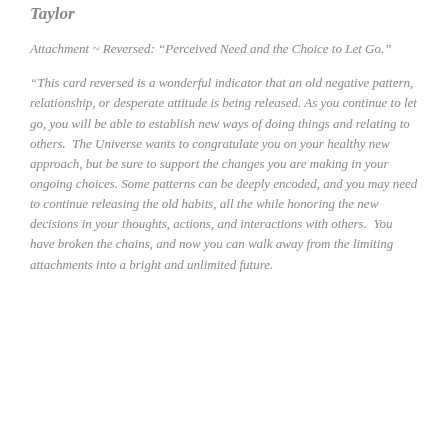Taylor
Attachment ~ Reversed: “Perceived Need and the Choice to Let Go.”
“This card reversed is a wonderful indicator that an old negative pattern, relationship, or desperate attitude is being released. As you continue to let go, you will be able to establish new ways of doing things and relating to others. The Universe wants to congratulate you on your healthy new approach, but be sure to support the changes you are making in your ongoing choices. Some patterns can be deeply encoded, and you may need to continue releasing the old habits, all the while honoring the new decisions in your thoughts, actions, and interactions with others. You have broken the chains, and now you can walk away from the limiting attachments into a bright and unlimited future.